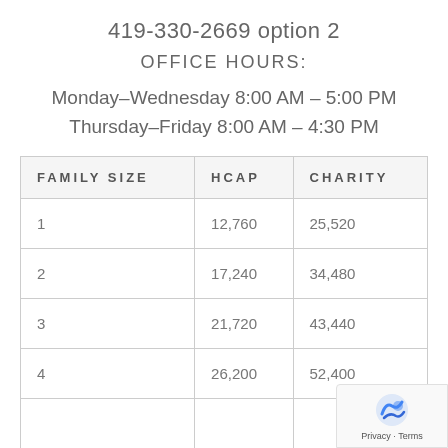419-330-2669 option 2
OFFICE HOURS:
Monday–Wednesday 8:00 AM – 5:00 PM
Thursday–Friday 8:00 AM – 4:30 PM
| FAMILY SIZE | HCAP | CHARITY |
| --- | --- | --- |
| 1 | 12,760 | 25,520 |
| 2 | 17,240 | 34,480 |
| 3 | 21,720 | 43,440 |
| 4 | 26,200 | 52,400 |
|  |  |  |